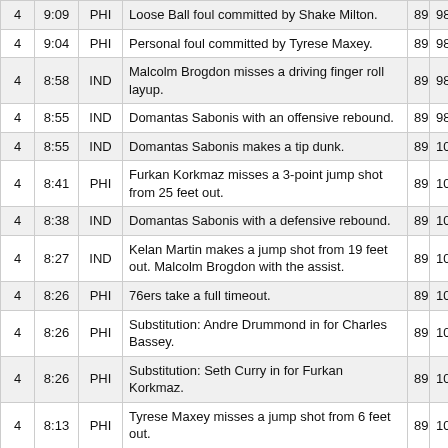| Q | Time | Team | Description | PHI | IND |
| --- | --- | --- | --- | --- | --- |
| 4 | 9:09 | PHI | Loose Ball foul committed by Shake Milton. | 89 | 98 |
| 4 | 9:04 | PHI | Personal foul committed by Tyrese Maxey. | 89 | 98 |
| 4 | 8:58 | IND | Malcolm Brogdon misses a driving finger roll layup. | 89 | 98 |
| 4 | 8:55 | IND | Domantas Sabonis with an offensive rebound. | 89 | 98 |
| 4 | 8:55 | IND | Domantas Sabonis makes a tip dunk. | 89 | 100 |
| 4 | 8:41 | PHI | Furkan Korkmaz misses a 3-point jump shot from 25 feet out. | 89 | 100 |
| 4 | 8:38 | IND | Domantas Sabonis with a defensive rebound. | 89 | 100 |
| 4 | 8:27 | IND | Kelan Martin makes a jump shot from 19 feet out. Malcolm Brogdon with the assist. | 89 | 102 |
| 4 | 8:26 | PHI | 76ers take a full timeout. | 89 | 102 |
| 4 | 8:26 | PHI | Substitution: Andre Drummond in for Charles Bassey. | 89 | 102 |
| 4 | 8:26 | PHI | Substitution: Seth Curry in for Furkan Korkmaz. | 89 | 102 |
| 4 | 8:13 | PHI | Tyrese Maxey misses a jump shot from 6 feet out. | 89 | 102 |
| 4 | 8:11 | PHI | Andre Drummond with an offensive rebound. | 89 | 102 |
| 4 | 8:11 | PHI | Andre Drummond misses a tip layup. | 89 | 102 |
| 4 | 8:11 | PHI | Seth Curry with an offensive rebound. | 89 | 102 |
| 4 | 8:04 | PHI | Seth Curry makes a 3-point step back jump shot | 89 | 102 |